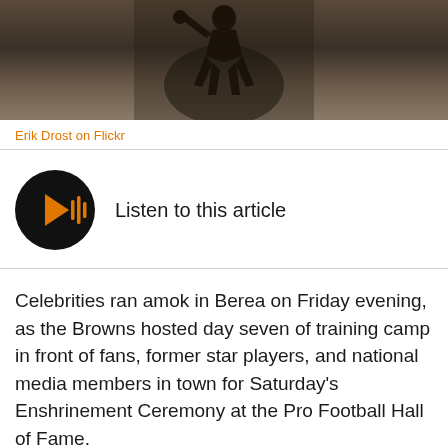[Figure (photo): Sports photograph of a football player in dark uniform, dark/blurry background with crowd]
Erik Drost on Flickr
[Figure (other): Audio player button: black circle with orange play icon and sound wave bars, labeled 'Listen to this article']
Celebrities ran amok in Berea on Friday evening, as the Browns hosted day seven of training camp in front of fans, former star players, and national media members in town for Saturday's Enshrinement Ceremony at the Pro Football Hall of Fame.